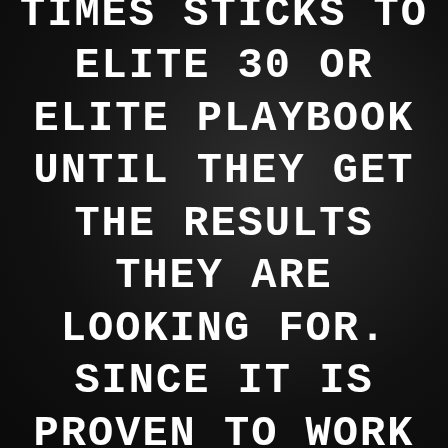TIMES STICKS TO ELITE 30 OR ELITE PLAYBOOK UNTIL THEY GET THE RESULTS THEY ARE LOOKING FOR. SINCE IT IS PROVEN TO WORK